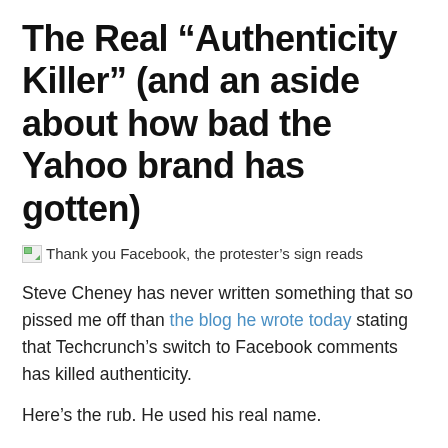The Real “Authenticity Killer” (and an aside about how bad the Yahoo brand has gotten)
Thank you Facebook, the protester’s sign reads
Steve Cheney has never written something that so pissed me off than the blog he wrote today stating that Techcrunch’s switch to Facebook comments has killed authenticity.
Here’s the rub. He used his real name.
Strike one about why he’s wrong.